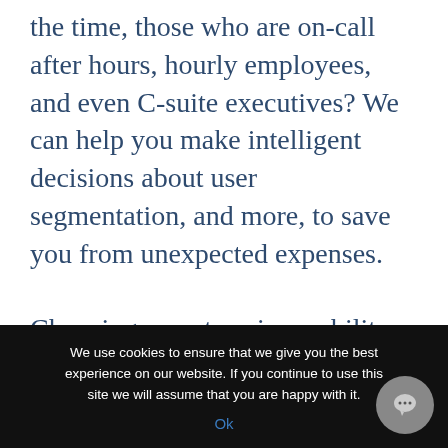the time, those who are on-call after hours, hourly employees, and even C-suite executives? We can help you make intelligent decisions about user segmentation, and more, to save you from unexpected expenses.

Choosing an enterprise mobility management (EMM) solution to manage your corporate data on
We use cookies to ensure that we give you the best experience on our website. If you continue to use this site we will assume that you are happy with it.
Ok